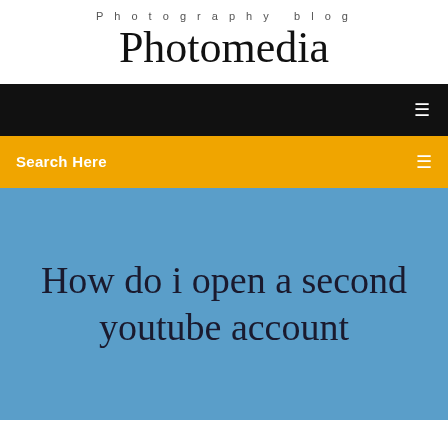Photography blog
Photomedia
[Figure (screenshot): Black navigation bar with white menu icon on right]
Search Here
How do i open a second youtube account